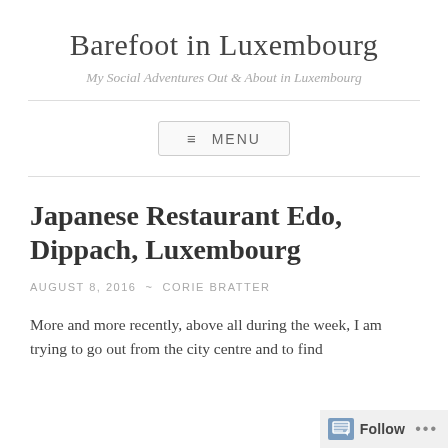Barefoot in Luxembourg
My Social Adventures Out & About in Luxembourg
≡ MENU
Japanese Restaurant Edo, Dippach, Luxembourg
AUGUST 8, 2016 ~ CORIE BRATTER
More and more recently, above all during the week, I am trying to go out from the city centre and to find